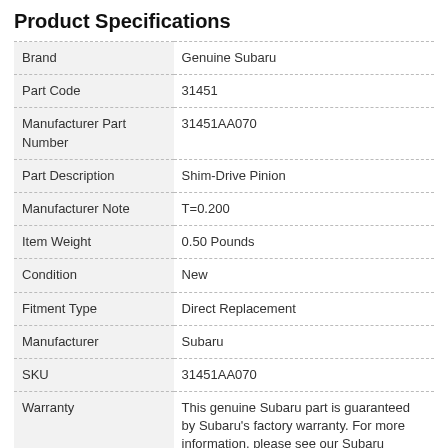Product Specifications
|  |  |
| --- | --- |
| Brand | Genuine Subaru |
| Part Code | 31451 |
| Manufacturer Part Number | 31451AA070 |
| Part Description | Shim-Drive Pinion |
| Manufacturer Note | T=0.200 |
| Item Weight | 0.50 Pounds |
| Condition | New |
| Fitment Type | Direct Replacement |
| Manufacturer | Subaru |
| SKU | 31451AA070 |
| Warranty | This genuine Subaru part is guaranteed by Subaru's factory warranty. For more information, please see our Subaru Warranty Page. |
| Shipping & Return | Shipping Policy   Return Policy |